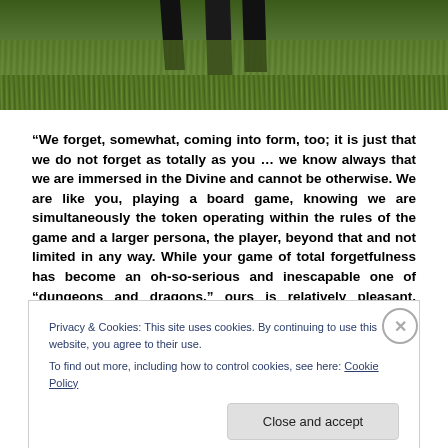[Figure (photo): Bottom portion of a person's legs and feet standing in tall green grass]
“We forget, somewhat, coming into form, too; it is just that we do not forget as totally as you … we know always that we are immersed in the Divine and cannot be otherwise. We are like you, playing a board game, knowing we are simultaneously the token operating within the rules of the game and a larger persona, the player, beyond that and not limited in any way. While your game of total forgetfulness has become an oh-so-serious and inescapable one of “dungeons and dragons,” ours is relatively pleasant, playful, child-like, and often
Privacy & Cookies: This site uses cookies. By continuing to use this website, you agree to their use.
To find out more, including how to control cookies, see here: Cookie Policy